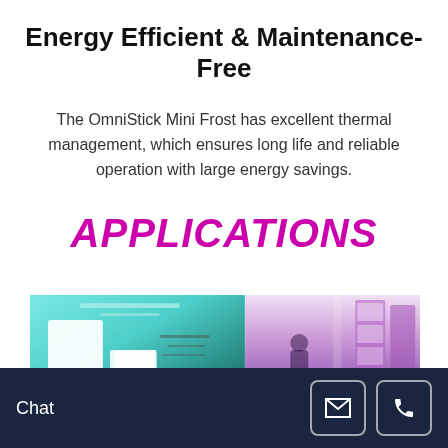Energy Efficient & Maintenance-Free
The OmniStick Mini Frost has excellent thermal management, which ensures long life and reliable operation with large energy savings.
APPLICATIONS
[Figure (photo): Two interior application photos side by side: left shows a modern interior space with hanging white pendant lamps and teal/turquoise ambient ceiling lighting; right shows a retail display area with purple/violet ambient lighting and illuminated display panels.]
Chat